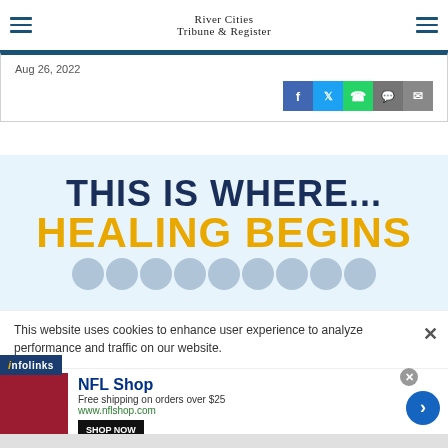River Cities Tribune & Register
Aug 26, 2022
[Figure (screenshot): Social share buttons: Facebook (blue), Twitter (light blue), WhatsApp (green), Message (gray), Email (gray)]
[Figure (infographic): Advertisement banner reading THIS IS WHERE... HEALING BEGINS in large bold text, with a row of faces at the bottom]
This website uses cookies to enhance user experience to analyze performance and traffic on our website.
[Figure (logo): infolinks logo badge]
[Figure (infographic): NFL Shop advertisement: Free shipping on orders over $25, www.nflshop.com, SHOP NOW button, and a right-arrow navigation button]